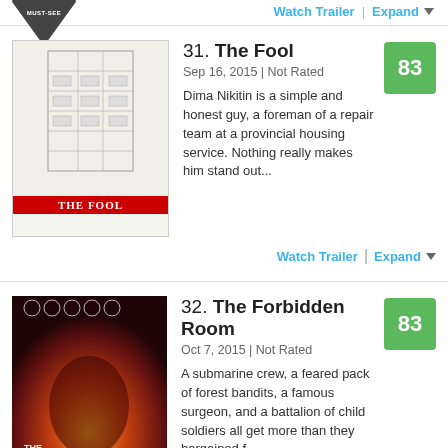[Figure (other): Must-see badge logo at top]
Watch Trailer  |  Expand
[Figure (photo): Movie poster for The Fool - sketch of a building]
31. The Fool
Sep 16, 2015 | Not Rated
Dima Nikitin is a simple and honest guy, a foreman of a repair team at a provincial housing service. Nothing really makes him stand out...
83
Watch Trailer  |  Expand
[Figure (photo): Movie poster for The Forbidden Room with orange/red tones and Must-See badge]
32. The Forbidden Room
Oct 7, 2015 | Not Rated
A submarine crew, a feared pack of forest bandits, a famous surgeon, and a battalion of child soldiers all get more than they bargained f...
83
Watch Trailer  |  Expand
[Figure (photo): Partial movie poster for The Salt of the Earth]
33. The Salt of the Earth